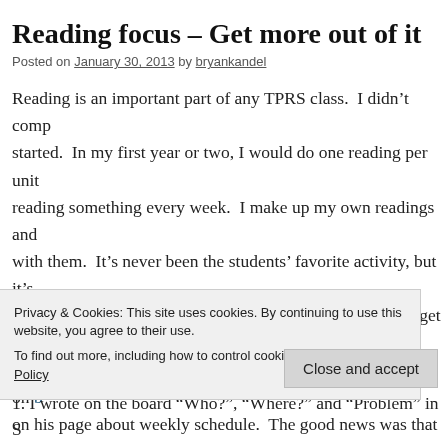Reading focus – Get more out of it
Posted on January 30, 2013 by bryankandel
Reading is an important part of any TPRS class. I didn't comp started. In my first year or two, I would do one reading per unit reading something every week. I make up my own readings and with them. It's never been the students' favorite activity, but it's I've been investigating how others do reading and how to get m general has been one of my recent goals. I spent some time on on his page about weekly schedule. The good news was that my different than his. The challenge I found was that Ben gets two more out of it than I do. I typically spend 30 minutes or so and decided to try Ben's approach to see if I could get more from on simply fill more class time but to increase focus on one reading
Privacy & Cookies: This site uses cookies. By continuing to use this website, you agree to their use.
To find out more, including how to control cookies, see here: Cookie Policy
1. I wrote on the board "Who?", "Where?" and "Problem" in S